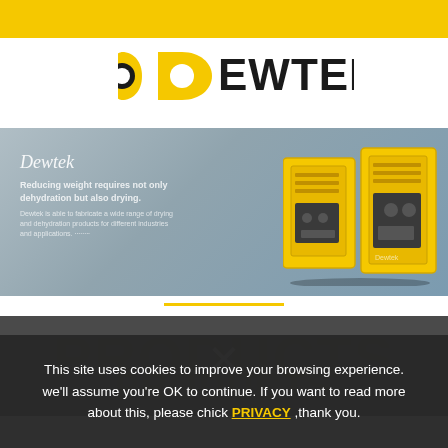[Figure (logo): Dewtek logo with yellow D-shaped icon and bold black EWTEK text]
[Figure (photo): Hero banner showing Dewtek industrial drying equipment in yellow on a blue-grey background with text: Dewtek - Reducing weight requires not only dehydration but also drying.]
PRODUCTS
This site uses cookies to improve your browsing experience. we'll assume you're OK to continue. If you want to read more about this, please chick PRIVACY ,thank you.